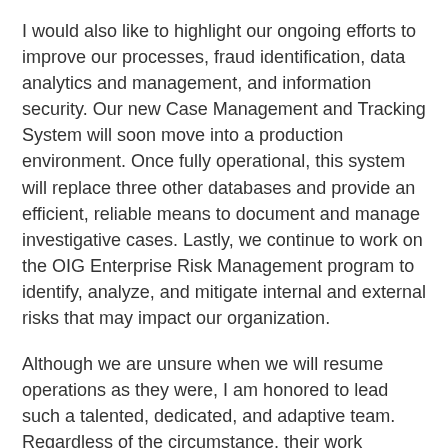I would also like to highlight our ongoing efforts to improve our processes, fraud identification, data analytics and management, and information security. Our new Case Management and Tracking System will soon move into a production environment. Once fully operational, this system will replace three other databases and provide an efficient, reliable means to document and manage investigative cases. Lastly, we continue to work on the OIG Enterprise Risk Management program to identify, analyze, and mitigate internal and external risks that may impact our organization.
Although we are unsure when we will resume operations as they were, I am honored to lead such a talented, dedicated, and adaptive team. Regardless of the circumstance, their work continues to compel